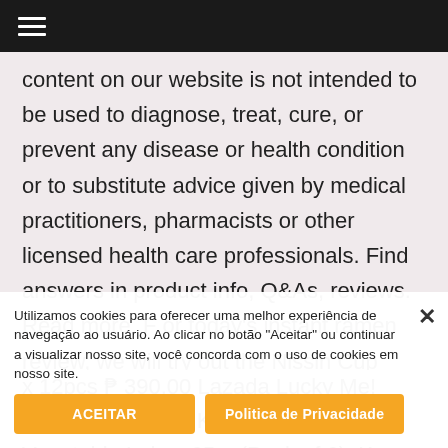☰ (navigation menu)
content on our website is not intended to be used to diagnose, treat, cure, or prevent any disease or health condition or to substitute advice given by medical practitioners, pharmacists or other licensed health care professionals. Find answers in product info, Q&As, reviews. Read more. F or today's instant ramen review, we will try out the Nissin Cup Noodle Seafood (Japanese: カップヌードル シーフード). Nissin Cup Noodles Seafood Flavor 40g
x 12pcs ₱ 390.00 Lazada Lucky Me! Made with H... g, Kabuto Noodles Vegetable Laksa 65 g (Pack of 6), Knorr C... Mix, 25 Portions (Makes 4.25 Litres). Very fast to make
Utilizamos cookies para oferecer uma melhor experiência de navegação ao usuário. Ao clicar no botão "Aceitar" ou continuar a visualizar nosso site, você concorda com o uso de cookies em nosso site.
ACEITAR
Politica de Privacidade